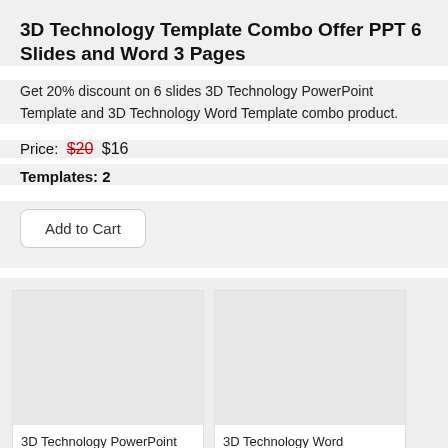3D Technology Template Combo Offer PPT 6 Slides and Word 3 Pages
Get 20% discount on 6 slides 3D Technology PowerPoint Template and 3D Technology Word Template combo product.
Price: $20 $16
Templates: 2
Add to Cart
[Figure (other): Thumbnail placeholder for 3D Technology PowerPoint Template]
3D Technology PowerPoint Template
[Figure (other): Thumbnail placeholder for 3D Technology Word Template]
3D Technology Word Template